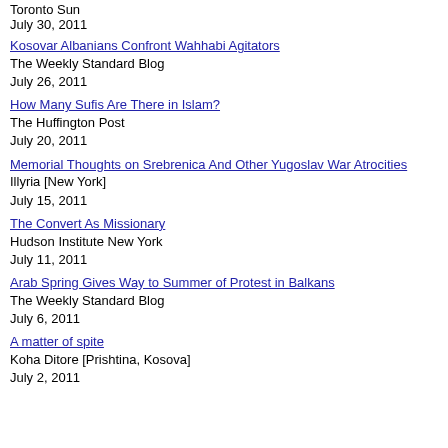Toronto Sun
July 30, 2011
Kosovar Albanians Confront Wahhabi Agitators
The Weekly Standard Blog
July 26, 2011
How Many Sufis Are There in Islam?
The Huffington Post
July 20, 2011
Memorial Thoughts on Srebrenica And Other Yugoslav War Atrocities
Illyria [New York]
July 15, 2011
The Convert As Missionary
Hudson Institute New York
July 11, 2011
Arab Spring Gives Way to Summer of Protest in Balkans
The Weekly Standard Blog
July 6, 2011
A matter of spite
Koha Ditore [Prishtina, Kosova]
July 2, 2011